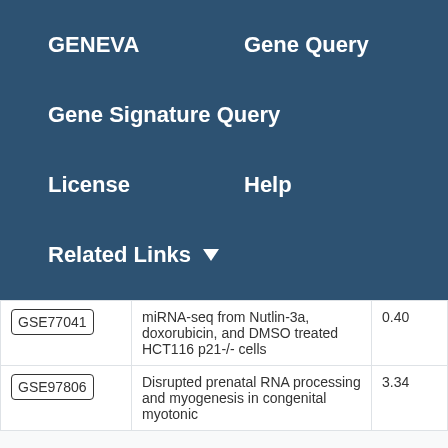GENEVA
Gene Query
Gene Signature Query
License
Help
Related Links
| GSE ID | Description | Score |
| --- | --- | --- |
| GSE77041 | miRNA-seq from Nutlin-3a, doxorubicin, and DMSO treated HCT116 p21-/- cells | 0.40 |
| GSE97806 | Disrupted prenatal RNA processing and myogenesis in congenital myotonic | 3.34 |